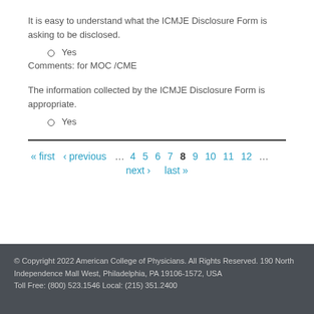It is easy to understand what the ICMJE Disclosure Form is asking to be disclosed.
Yes
Comments: for MOC /CME
The information collected by the ICMJE Disclosure Form is appropriate.
Yes
« first ‹ previous … 4 5 6 7 8 9 10 11 12 … next › last »
© Copyright 2022 American College of Physicians. All Rights Reserved. 190 North Independence Mall West, Philadelphia, PA 19106-1572, USA Toll Free: (800) 523.1546 Local: (215) 351.2400